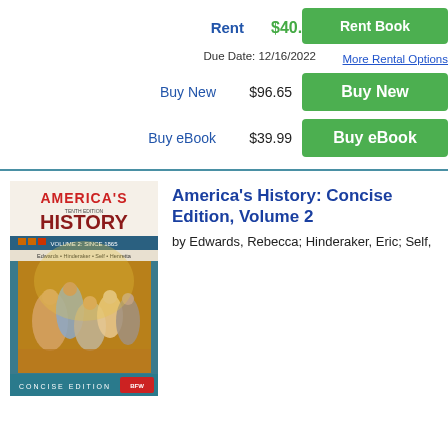Rent  $40.43
Due Date: 12/16/2022
More Rental Options
Buy New  $96.65
Buy eBook  $39.99
[Figure (illustration): Book cover of America's History: Concise Edition, Volume 2. Shows a painting of people dancing, with the title in red and dark red lettering, authors listed as Edwards, Hinderaker, Self, Henretta.]
America's History: Concise Edition, Volume 2
by Edwards, Rebecca; Hinderaker, Eric; Self,